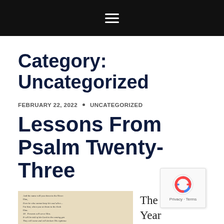≡
Category: Uncategorized
FEBRUARY 22, 2022 · UNCATEGORIZED
Lessons From Psalm Twenty-Three
[Figure (photo): Open Bible showing Psalm 23 text]
The Year to a bumpy